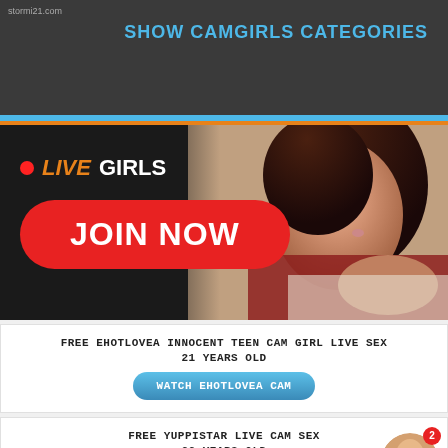stormi21.com
SHOW CAMGIRLS CATEGORIES
[Figure (photo): Banner with woman in red lingerie lying down with a rose, with LIVE GIRLS text and JOIN NOW red button overlay]
FREE EHOTLOVEA INNOCENT TEEN CAM GIRL LIVE SEX
21 YEARS OLD
WATCH EHOTLOVEA CAM
FREE YUPPISTAR LIVE CAM SEX
22 YEARS OLD
WATCH YUPPISTAR CAM
FREE ANABELO54 LIVE CAM SEX
22 YEARS OLD